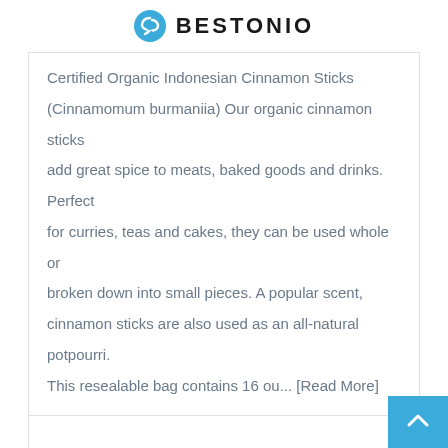BESTONIO
Certified Organic Indonesian Cinnamon Sticks (Cinnamomum burmaniia) Our organic cinnamon sticks add great spice to meats, baked goods and drinks. Perfect for curries, teas and cakes, they can be used whole or broken down into small pieces. A popular scent, cinnamon sticks are also used as an all-natural potpourri. This resealable bag contains 16 ou... [Read More]
BUY ONLINE